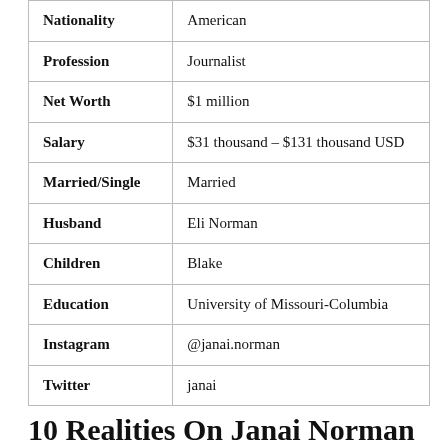| Field | Value |
| --- | --- |
| Nationality | American |
| Profession | Journalist |
| Net Worth | $1 million |
| Salary | $31 thousand – $131 thousand USD |
| Married/Single | Married |
| Husband | Eli Norman |
| Children | Blake |
| Education | University of Missouri-Columbia |
| Instagram | @janai.norman |
| Twitter | janai |
10 Realities On Janai Norman